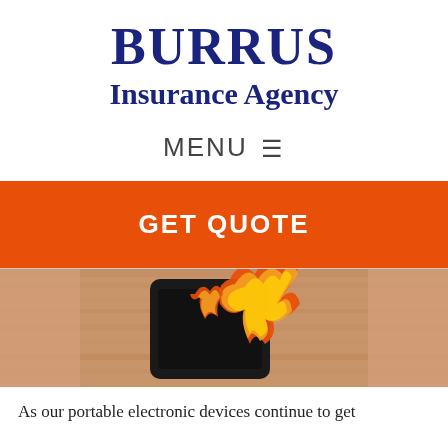BURRUS Insurance Agency
MENU ☰
GET QUOTE
[Figure (photo): A smartphone on fire / burning, placed on a wooden surface, close-up photo]
As our portable electronic devices continue to get